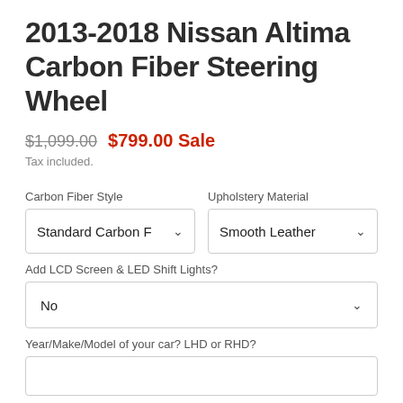2013-2018 Nissan Altima Carbon Fiber Steering Wheel
$1,099.00  $799.00 Sale
Tax included.
Carbon Fiber Style
Standard Carbon F
Upholstery Material
Smooth Leather
Add LCD Screen & LED Shift Lights?
No
Year/Make/Model of your car? LHD or RHD?